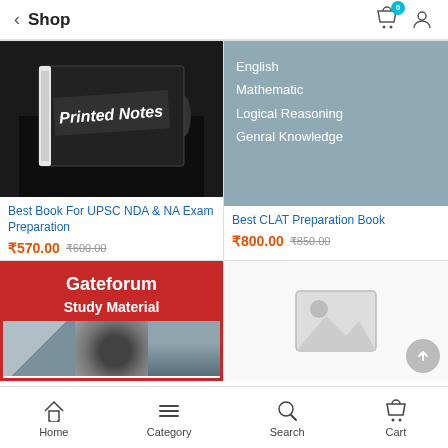Shop
[Figure (photo): Book cover showing 'Printed Notes' on dark background with crowd of people]
Best Book For UPSC NDA & NA Exam Preparation
₹570.00  ₹600.00
[Figure (photo): Grey card listing: English, Mathematic, Logical Reasoning, Genral Knowledge]
Best CLAT Preparation Book
₹800.00  ₹850.00
[Figure (photo): Gateforum Study Material book cover with red border, red header, and engineering images at bottom]
[Figure (photo): Placeholder image icon (grey mountains and sun)]
Home  Category  Search  Cart